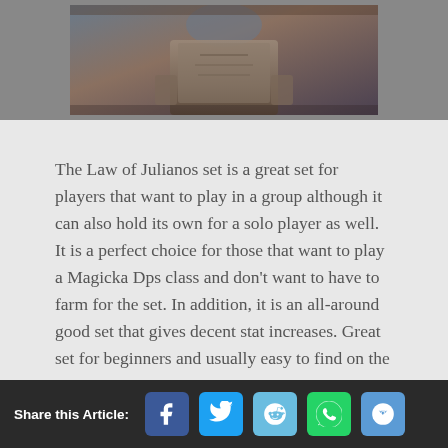[Figure (photo): Game character in ornate robes, cropped view showing torso/hands]
The Law of Julianos set is a great set for players that want to play in a group although it can also hold its own for a solo player as well. It is a perfect choice for those that want to play a Magicka Dps class and don't want to have to farm for the set. In addition, it is an all-around good set that gives decent stat increases. Great set for beginners and usually easy to find on the guild traders.
Share this Article: [Facebook] [Twitter] [Reddit] [WhatsApp] [Email]